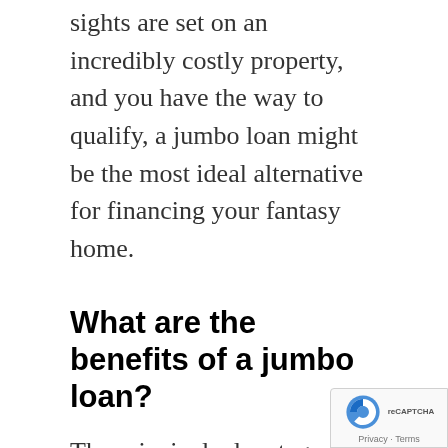sights are set on an incredibly costly property, and you have the way to qualify, a jumbo loan might be the most ideal alternative for financing your fantasy home.
What are the benefits of a jumbo loan?
The principal advantage for borrowers is that a jumbo mortgage allows you to acquire more than the cutoff points forced by Fannie and Freddie. All in all, it permits the borrower to purchase a property that they would not have the option to on the off chance that they restricted themselves to conforming loans. It can permit individuals to purchase bigger homes